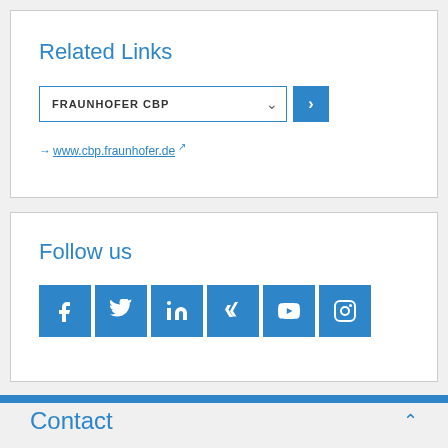Related Links
FRAUNHOFER CBP
→www.cbp.fraunhofer.de ↗
Follow us
[Figure (infographic): Social media icons for Facebook, Twitter, LinkedIn, Xing, YouTube, Instagram]
Contact